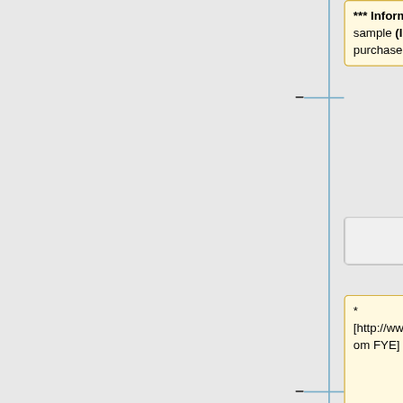[Figure (flowchart): A flowchart/diagram showing wiki-style information boxes connected by lines. Top yellow box shows '*** Information displayed: title, sample (link), price, web-based purchase (link)'. Below are two grey placeholder boxes. Then a yellow box with '* [http://www.fye.com FYE]' connected by a minus sign, and a blue box with '* [http://www.downloadpunk.com/?webaction=AlbumDetail&albumid=13202 Download Punk]' connected by a plus sign. At bottom: a yellow box starting with '** [http://www.fye.com/Not-Too-Late-Music_stcVVproductId7456462' and a blue box with '** Properties: album artist, track title, album title, album label, track sample,']